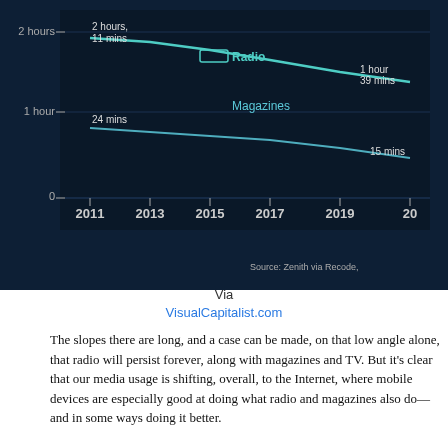[Figure (continuous-plot): Line chart on dark navy background showing media consumption trends over time (2011–2021) for Radio and Magazines. Radio line is highlighted in teal/cyan, Magazines line in lighter blue. Y-axis labels: 0, 1 hour, 2 hours. Data labels shown: '2 hours, 11 mins', '24 mins', '1 hour 39 mins', '15 mins'. X-axis years: 2011, 2013, 2015, 2017, 2019, 2021. Source: Zenith via Recode.]
Via
VisualCapitalist.com
The slopes there are long, and a case can be made, on that low angle alone, that radio will persist forever, along with magazines and TV. But it’s clear that our media usage is shifting, overall, to the Internet, where mobile devices are especially good at doing what radio and magazines also do—and in some ways doing it better.
But back to William Moser’s question.
There are already many ways to stream Americana (aka American roots music) over the Internet, whether from stations, streaming services like Spotify, Pandora, or a channel on SiriusXM. But those are largely personality-free.
What KPIG has (once described to me as “mutant cowboy rock & roll”) isn’t a format but an institution, like a favorite old tavern, music club, outdoor festival, or coffee shop—or all those rolled into one. Can one replicate that with an Internet station, or a channel on a global service?
I think not, because those services are all global. You need to start with local roots. WWOZ has that, because it started as a radio station in New Orleans, a place that is its…